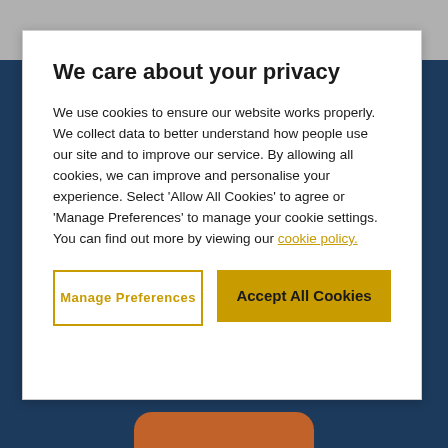We care about your privacy
We use cookies to ensure our website works properly. We collect data to better understand how people use our site and to improve our service. By allowing all cookies, we can improve and personalise your experience. Select 'Allow All Cookies' to agree or 'Manage Preferences' to manage your cookie settings. You can find out more by viewing our cookie policy.
Manage Preferences
Accept All Cookies